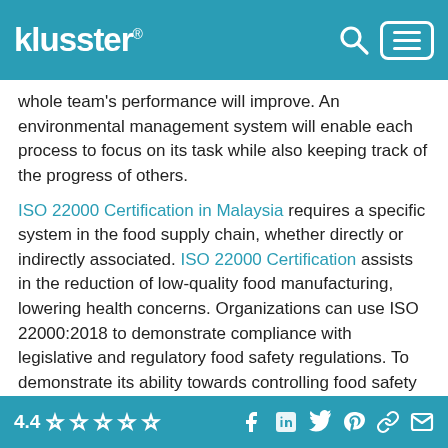klusster®
whole team's performance will improve. An environmental management system will enable each process to focus on its task while also keeping track of the progress of others.
ISO 22000 Certification in Malaysia requires a specific system in the food supply chain, whether directly or indirectly associated. ISO 22000 Certification assists in the reduction of low-quality food manufacturing, lowering health concerns. Organizations can use ISO 22000:2018 to demonstrate compliance with legislative and regulatory food safety regulations. To demonstrate its ability towards controlling food safety risks in order to assure that the food is safe for the consumption of humans.
4.4 ☆☆☆☆☆